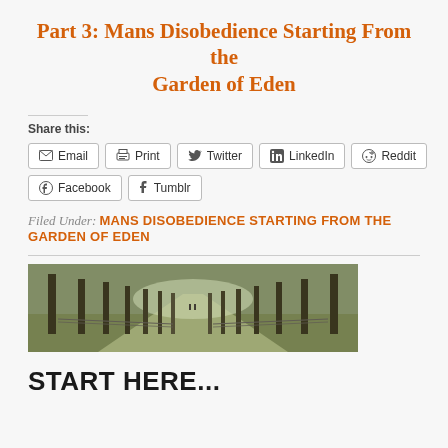Part 3: Mans Disobedience Starting From the Garden of Eden
Share this:
Email | Print | Twitter | LinkedIn | Reddit | Facebook | Tumblr
Filed Under: MANS DISOBEDIENCE STARTING FROM THE GARDEN OF EDEN
[Figure (photo): A tree-lined path or avenue in a park, viewed in perspective, with bare trees on both sides, grass, and fence railings, misty background, warm low light.]
START HERE...